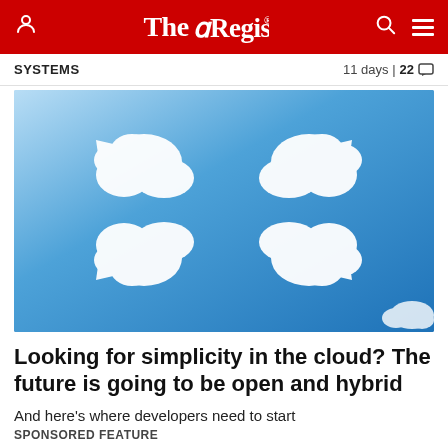The Register
SYSTEMS   11 days | 22 comments
[Figure (photo): Blue sky with four white clouds arranged in a 2x2 grid, each cloud shaped like an arrow or cursor pointing outward, suggesting a fullscreen or expand icon made of clouds.]
Looking for simplicity in the cloud? The future is going to be open and hybrid
And here's where developers need to start
SPONSORED FEATURE